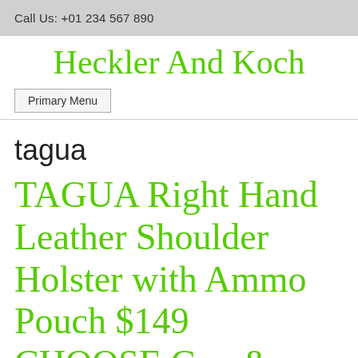Call Us: +01 234 567 890
Heckler And Koch
Primary Menu
tagua
TAGUA Right Hand Leather Shoulder Holster with Ammo Pouch $149 CHOOSE Gun & Color